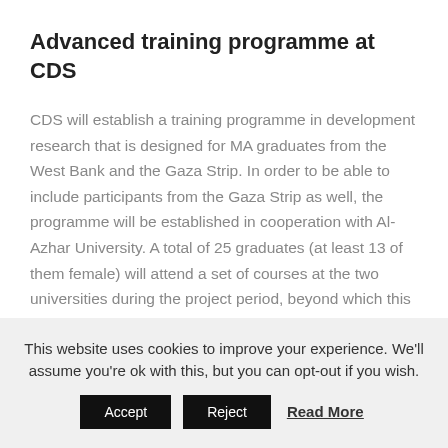Advanced training programme at CDS
CDS will establish a training programme in development research that is designed for MA graduates from the West Bank and the Gaza Strip. In order to be able to include participants from the Gaza Strip as well, the programme will be established in cooperation with Al-Azhar University. A total of 25 graduates (at least 13 of them female) will attend a set of courses at the two universities during the project period, beyond which this component will be further developed in order to
This website uses cookies to improve your experience. We'll assume you're ok with this, but you can opt-out if you wish.